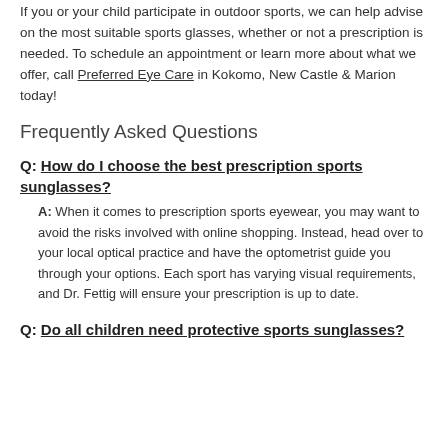If you or your child participate in outdoor sports, we can help advise on the most suitable sports glasses, whether or not a prescription is needed. To schedule an appointment or learn more about what we offer, call Preferred Eye Care in Kokomo, New Castle & Marion today!
Frequently Asked Questions
Q: How do I choose the best prescription sports sunglasses?
A: When it comes to prescription sports eyewear, you may want to avoid the risks involved with online shopping. Instead, head over to your local optical practice and have the optometrist guide you through your options. Each sport has varying visual requirements, and Dr. Fettig will ensure your prescription is up to date.
Q: Do all children need protective sports sunglasses?